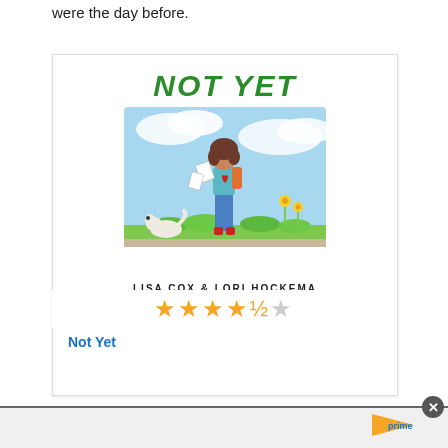were the day before.
[Figure (illustration): Book cover of 'Not Yet' by Lisa Cox & Lori Hockema, showing a girl with a backpack standing in a field with a small white dog and flowers, sky in background. Title is in large green italic bold text at top, authors listed below illustration.]
[Figure (other): 4.5 star rating shown with gold stars]
Not Yet